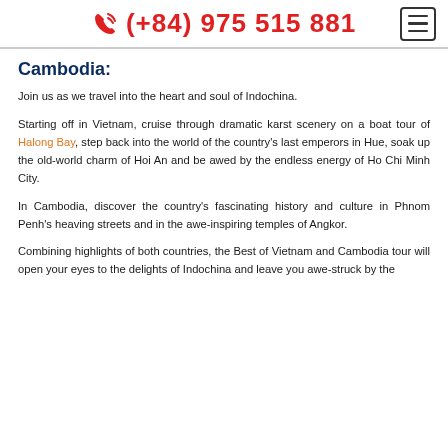(+84) 975 515 881
Cambodia:
Join us as we travel into the heart and soul of Indochina.
Starting off in Vietnam, cruise through dramatic karst scenery on a boat tour of Halong Bay, step back into the world of the country's last emperors in Hue, soak up the old-world charm of Hoi An and be awed by the endless energy of Ho Chi Minh City.
In Cambodia, discover the country's fascinating history and culture in Phnom Penh's heaving streets and in the awe-inspiring temples of Angkor.
Combining highlights of both countries, the Best of Vietnam and Cambodia tour will open your eyes to the delights of Indochina and leave you awe-struck by the...